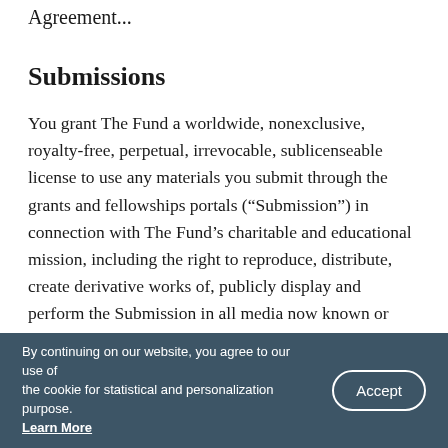Agreement...
Submissions
You grant The Fund a worldwide, nonexclusive, royalty-free, perpetual, irrevocable, sublicenseable license to use any materials you submit through the grants and fellowships portals (“Submission”) in connection with The Fund’s charitable and educational mission, including the right to reproduce, distribute, create derivative works of, publicly display and perform the Submission in all media now known or later developed. Any use of a Submission will be subject to The Fund’s Privacy Statement. You acknowledge and understand that
By continuing on our website, you agree to our use of the cookie for statistical and personalization purpose. Learn More  [Accept]